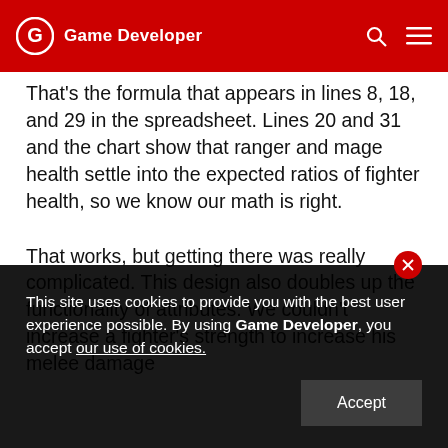Game Developer
That's the formula that appears in lines 8, 18, and 29 in the spreadsheet. Lines 20 and 31 and the chart show that ranger and mage health settle into the expected ratios of fighter health, so we know our math is right.
That works, but getting there was really complicated. This design also doubles up the functionality of attributes. We couldn't increase a fighter's strength to increase his melee damage
This site uses cookies to provide you with the best user experience possible. By using Game Developer, you accept our use of cookies.